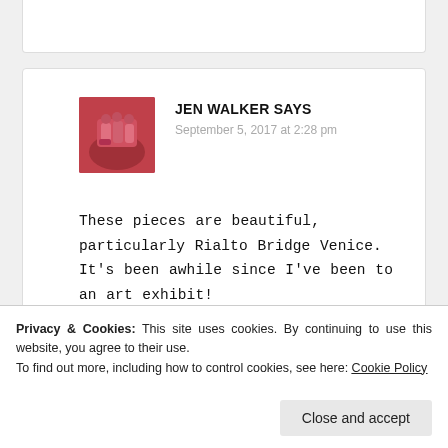[Figure (photo): Top partial white card at the top of the page]
[Figure (photo): Avatar image of Jen Walker showing red painted fingernails]
JEN WALKER SAYS
September 5, 2017 at 2:28 pm
These pieces are beautiful, particularly Rialto Bridge Venice. It's been awhile since I've been to an art exhibit!
Reply
[Figure (photo): Partial avatar image at the bottom of the comment card]
Privacy & Cookies: This site uses cookies. By continuing to use this website, you agree to their use.
To find out more, including how to control cookies, see here: Cookie Policy
Close and accept